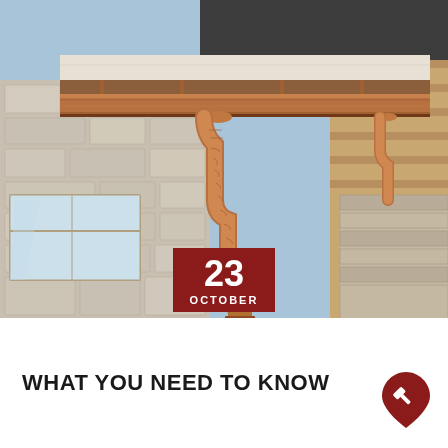[Figure (photo): Photograph of copper gutters and downspouts installed on the exterior of a stone house, shot from a low angle looking up at the roofline against a blue sky.]
23 OCTOBER
WHAT YOU NEED TO KNOW